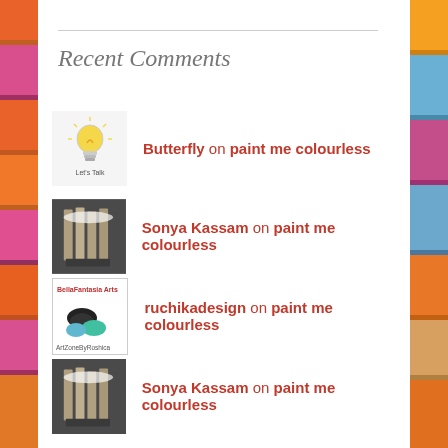Recent Comments
Butterfly on paint me colourless
Sonya Kassam on paint me colourless
ruchikadesign on paint me colourless
Sonya Kassam on paint me colourless
Sonya Kassam on paint me colourless